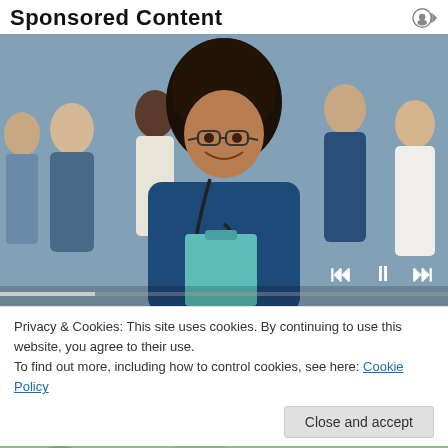Sponsored Content
[Figure (photo): Group of healthcare workers in blue scrubs smiling, with a woman in the foreground wearing glasses and holding a clipboard, stethoscope around her neck]
Privacy & Cookies: This site uses cookies. By continuing to use this website, you agree to their use.
To find out more, including how to control cookies, see here: Cookie Policy
[Figure (photo): Partial image of outdoor scene at bottom of page]